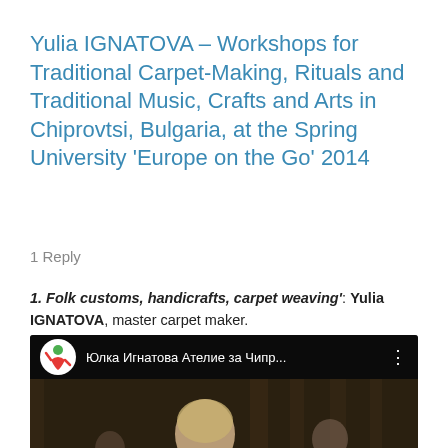Yulia IGNATOVA – Workshops for Traditional Carpet-Making, Rituals and Traditional Music, Crafts and Arts in Chiprovtsi, Bulgaria, at the Spring University 'Europe on the Go' 2014
1 Reply
1. Folk customs, handicrafts, carpet weaving': Yulia IGNATOVA, master carpet maker.
[Figure (screenshot): YouTube video thumbnail showing a woman looking upward in a dark outdoor setting. The video bar shows a channel logo (red and green figure on white background), channel name 'Юлка Игнатова Ателие за Чипр...', and a three-dot menu icon. A red YouTube play button is visible at the bottom center.]